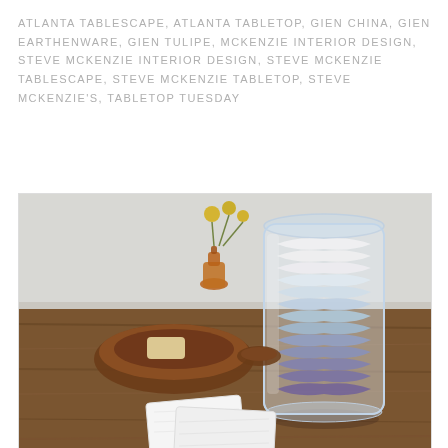ATLANTA TABLESCAPE, ATLANTA TABLETOP, GIEN CHINA, GIEN EARTHENWARE, GIEN TULIPE, MCKENZIE INTERIOR DESIGN, STEVE MCKENZIE INTERIOR DESIGN, STEVE MCKENZIE TABLESCAPE, STEVE MCKENZIE TABLETOP, STEVE MCKENZIE'S, TABLETOP TUESDAY
[Figure (photo): A glass jar filled with small folded cloth wipes arranged in an ombre gradient from white at top to lavender/purple at bottom. In the background is a small amber glass vase with dried yellow flowers and a wooden dish holding a bar of soap. Two white cloth wipes rest in the foreground on a rustic wooden surface.]